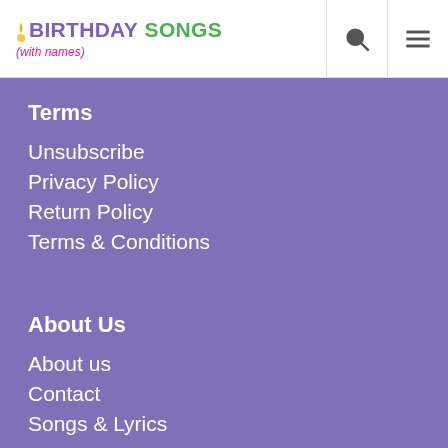BIRTHDAY SONGS (with names)
Terms
Unsubscribe
Privacy Policy
Return Policy
Terms & Conditions
About Us
About us
Contact
Songs & Lyrics